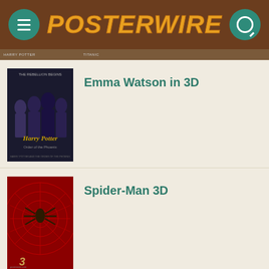POSTERWIRE
[Figure (photo): Harry Potter and the Order of the Phoenix movie poster showing Harry, Hermione, Ron and other characters with text 'THE REBELLION BEGINS' and 'Harry Potter']
Emma Watson in 3D
[Figure (photo): Spider-Man 3 movie poster showing the Spider-Man suit close-up with the number 3 at bottom]
Spider-Man 3D
[Figure (photo): Inglourious Basterds movie poster partial view]
Inglourious Movie Poster